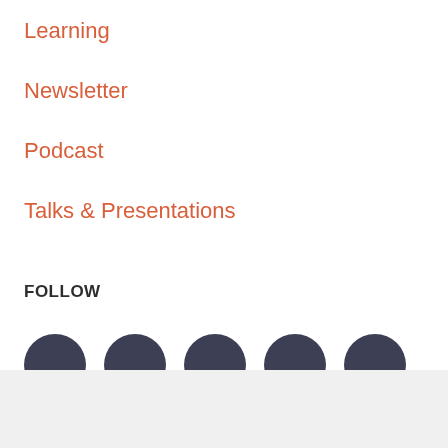Learning
Newsletter
Podcast
Talks & Presentations
FOLLOW
[Figure (illustration): Five dark circular social media icon buttons in a horizontal row]